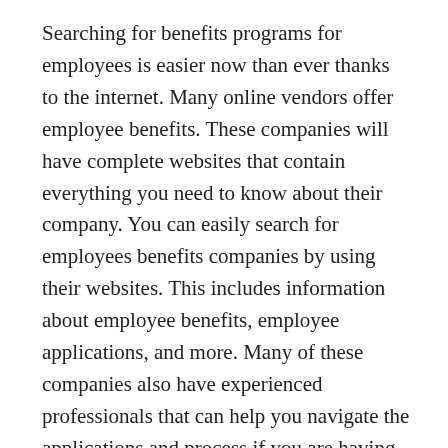Searching for benefits programs for employees is easier now than ever thanks to the internet. Many online vendors offer employee benefits. These companies will have complete websites that contain everything you need to know about their company. You can easily search for employees benefits companies by using their websites. This includes information about employee benefits, employee applications, and more. Many of these companies also have experienced professionals that can help you navigate the applications and process if you are having some problems. Finding an employee benefits consultant is one of the best things you can do to help you streamline your benefits process and make it as easy and affordable as possible.
Even though there are many people who think of employee benefits outsourcing as something to avoid